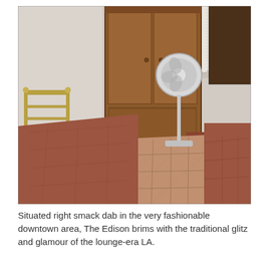[Figure (photo): Interior photo of a small bedroom with two single beds covered in brown/rust quilts, a wooden wardrobe in the center, a standing electric fan, terracotta tile floor, and lace curtains on the window.]
Situated right smack dab in the very fashionable downtown area, The Edison brims with the traditional glitz and glamour of the lounge-era LA.